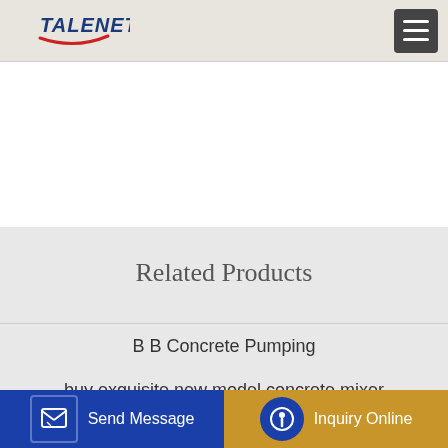TALENET
Related Products
B B Concrete Pumping
buy exquisite new model concrete mixer
China New Concrete Mixer Trucks Hudson Freight Cement Mixer industrial concrete mixer uti 750 measurements BHS
Send Message
Inquiry Online